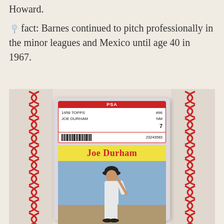Howard.
🐦 fact: Barnes continued to pitch professionally in the minor leagues and Mexico until age 40 in 1967.
[Figure (photo): A PSA-graded 1958 Topps baseball card #96 of Joe Durham, graded NM 7, serial number 23243583, shown in a plastic slab against a baseball background showing red stitching on both sides. The card features Joe Durham's name in red on a yellow background with a player illustration.]